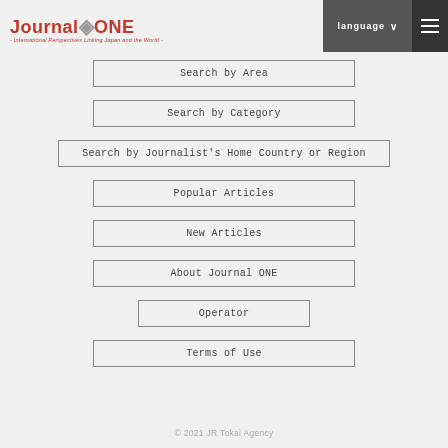Journal ONE - International Perspectives Linking Japan and the World -
Search by Area
Search by Category
Search by Journalist's Home Country or Region
Popular Articles
New Articles
About Journal ONE
Operator
Terms of Use
© 2021 JR Tokai Agency